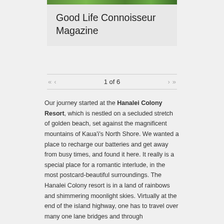[Figure (photo): Green foliage/nature photo strip at the top of the magazine box]
Good Life Connoisseur Magazine
« ‹   1 of 6   › »
Our journey started at the Hanalei Colony Resort, which is nestled on a secluded stretch of golden beach, set against the magnificent mountains of Kaua'i's North Shore. We wanted a place to recharge our batteries and get away from busy times, and found it here. It really is a special place for a romantic interlude, in the most postcard-beautiful surroundings. The Hanalei Colony resort is in a land of rainbows and shimmering moonlight skies. Virtually at the end of the island highway, one has to travel over many one lane bridges and through